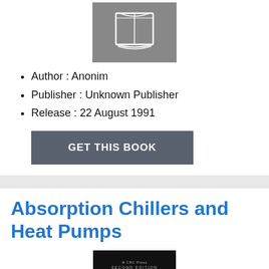[Figure (illustration): Book icon on grey background, centered at top of page]
Author : Anonim
Publisher : Unknown Publisher
Release : 22 August 1991
GET THIS BOOK
Absorption Chillers and Heat Pumps
[Figure (photo): Book cover of Absorption Chillers and Heat Pumps, Second Edition, dark background with blue and white text]